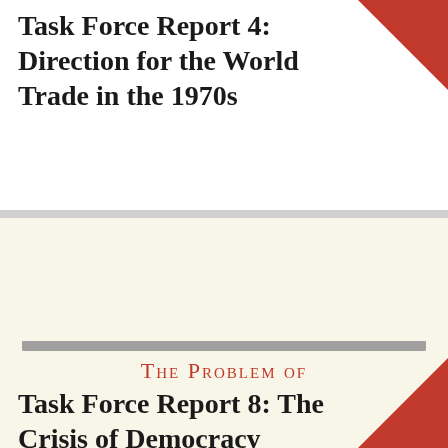Task Force Report 4: Direction for the World Trade in the 1970s
The Problem of
Task Force Report 8: The Crisis of Democracy